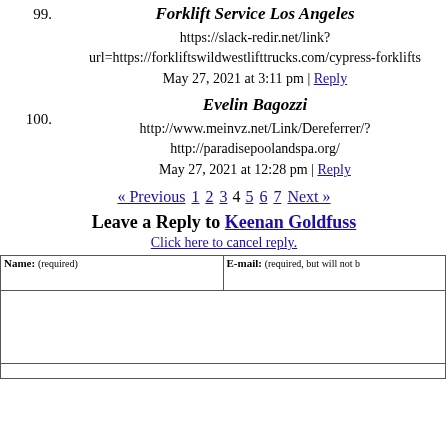99. Forklift Service Los Angeles
https://slack-redir.net/link?url=https://forkliftswildwestlifttrucks.com/cypress-forklifts
May 27, 2021 at 3:11 pm | Reply
100. Evelin Bagozzi
http://www.meinvz.net/Link/Dereferrer/?http://paradisepoolandspa.org/
May 27, 2021 at 12:28 pm | Reply
« Previous 1 2 3 4 5 6 7 Next »
Leave a Reply to Keenan Goldfuss
Click here to cancel reply.
| Name: (required) | E-mail: (required, but will not be published) |
| --- | --- |
|  |  |